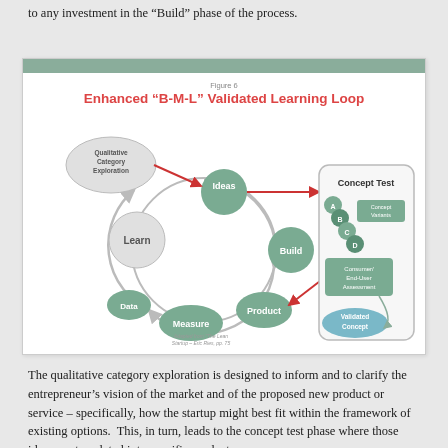to any investment in the “Build” phase of the process.
[Figure (flowchart): A flowchart showing the Enhanced Build-Measure-Learn validated learning loop. On the left side, a circular loop connects Ideas (top), Build (right), Product (bottom right), Measure (bottom), Data (bottom left), and Learn (left). A 'Qualitative Category Exploration' oval leads via red arrow to Ideas, which also has a red arrow pointing right to a 'Concept Test' box. Inside Concept Test are four overlapping circles labeled A, B, C, D (Concept Variants), a Consumer/End-User Assessment box, and a Validated Concept oval at the bottom. A curved arrow connects Assessment to Validated Concept. Adapted from 'The Lean Startup - Eric Ries, pp. 75'.]
Figure 6
The qualitative category exploration is designed to inform and to clarify the entrepreneur’s vision of the market and of the proposed new product or service – specifically, how the startup might best fit within the framework of existing options.  This, in turn, leads to the concept test phase where those ideas are translated into specific product